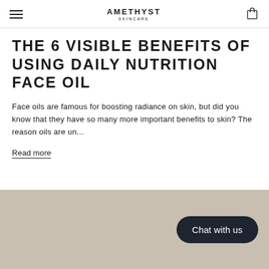AMETHYST SKINCARE
THE 6 VISIBLE BENEFITS OF USING DAILY NUTRITION FACE OIL
Face oils are famous for boosting radiance on skin, but did you know that they have so many more important benefits to skin? The reason oils are un...
Read more
[Figure (photo): Tan/beige background image section with a dark rounded 'Chat with us' button overlay in the lower right]